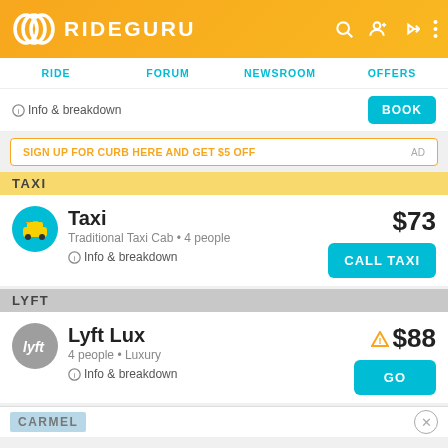RIDEGURU
RIDE | FORUM | NEWSROOM | OFFERS
Info & breakdown
SIGN UP FOR CURB HERE AND GET $5 OFF  AD
TAXI
Taxi  $73
Traditional Taxi Cab • 4 people
Info & breakdown
CALL TAXI
LYFT
Lyft Lux  $88
4 people • Luxury
Info & breakdown
GO
CARMEL